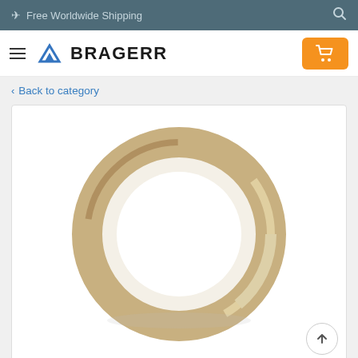✈ Free Worldwide Shipping
[Figure (logo): Bragerr logo with blue mountain/arrow icon and bold text BRAGERR]
< Back to category
[Figure (photo): A beige/tan colored ring or bangle (possibly a steering wheel cover or bracelet) photographed on white background]